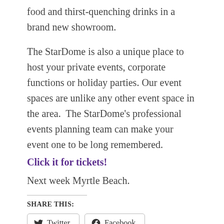food and thirst-quenching drinks in a brand new showroom.
The StarDome is also a unique place to host your private events, corporate functions or holiday parties. Our event spaces are unlike any other event space in the area.  The StarDome’s professional events planning team can make your event one to be long remembered.
Click it for tickets!
Next week Myrtle Beach.
SHARE THIS:
[Figure (other): Twitter and Facebook share buttons]
[Figure (other): Like button with star icon]
Be the first to like this.
RELATED